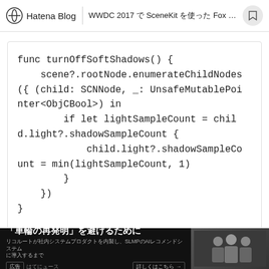Hatena Blog  |  WWDC 2017 で SceneKit を使った Fox 2 の…
[Figure (screenshot): Code block showing Swift function turnOffSoftShadows() with scene?.rootNode.enumerateChildNodes, child SCNNode parameter, UnsafeMutablePointer<ObjCBool>, lightSampleCount check, and child.light?.shadowSampleCount = min(lightSampleCount, 1)]
[Figure (other): Advertisement banner: 「車輪の再発明」を避けるために with photo of three people]